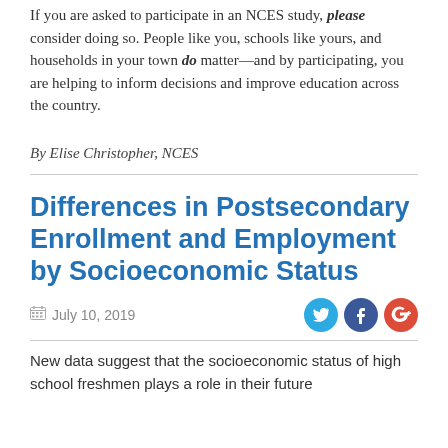If you are asked to participate in an NCES study, please consider doing so. People like you, schools like yours, and households in your town do matter—and by participating, you are helping to inform decisions and improve education across the country.
By Elise Christopher, NCES
Differences in Postsecondary Enrollment and Employment by Socioeconomic Status
July 10, 2019
New data suggest that the socioeconomic status of high school freshmen plays a role in their future